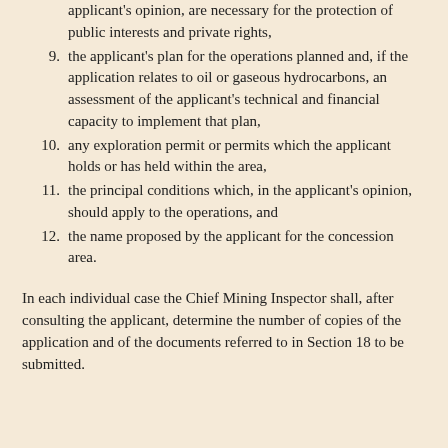applicant's opinion, are necessary for the protection of public interests and private rights,
9. the applicant's plan for the operations planned and, if the application relates to oil or gaseous hydrocarbons, an assessment of the applicant's technical and financial capacity to implement that plan,
10. any exploration permit or permits which the applicant holds or has held within the area,
11. the principal conditions which, in the applicant's opinion, should apply to the operations, and
12. the name proposed by the applicant for the concession area.
In each individual case the Chief Mining Inspector shall, after consulting the applicant, determine the number of copies of the application and of the documents referred to in Section 18 to be submitted.